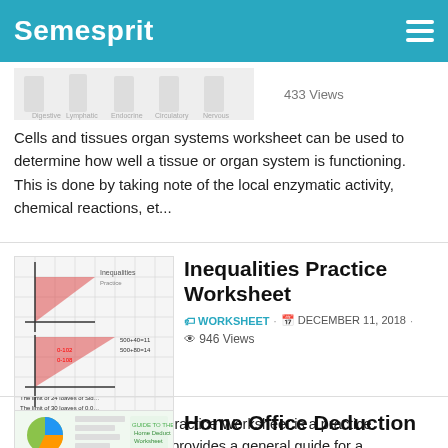Semesprit
[Figure (screenshot): Thumbnail showing organ systems worksheet with figures of body systems]
433 Views
Cells and tissues organ systems worksheet can be used to determine how well a tissue or organ system is functioning. This is done by taking note of the local enzymatic activity, chemical reactions, et...
[Figure (screenshot): Thumbnail of Inequalities Practice Worksheet showing graphs of inequalities with shaded regions]
Inequalities Practice Worksheet
WORKSHEET · DECEMBER 11, 2018 · 946 Views
The Equity Inequalities Practice Worksheet is a practice management tool which provides a general guide for a company's Equity Development. It serves as an instruction manual which can be used by the ...
[Figure (screenshot): Thumbnail of Home Office Deduction Worksheet showing pie chart and document pages]
Home Office Deduction Worksheet